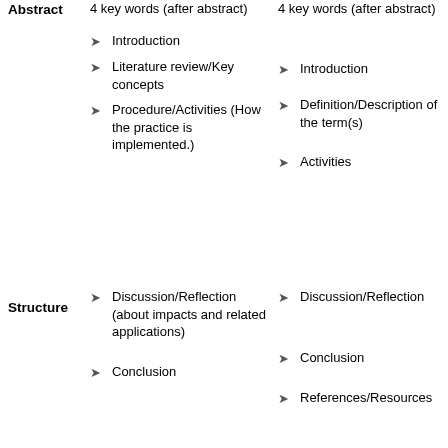Abstract
4 key words (after abstract)
4 key words (after abstract)
Introduction
Introduction
Literature review/Key concepts
Definition/Description of the term(s)
Procedure/Activities (How the practice is implemented.)
Activities
Structure
Discussion/Reflection (about impacts and related applications)
Discussion/Reflection
Conclusion
Conclusion
References/Resources